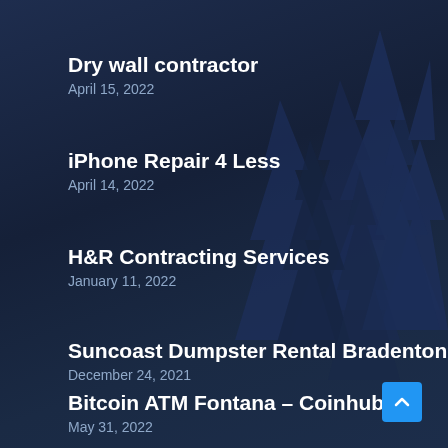[Figure (illustration): Dark navy blue background with silhouettes of evergreen/fir trees creating a forest scene, all in dark blue tones]
Dry wall contractor
April 15, 2022
iPhone Repair 4 Less
April 14, 2022
H&R Contracting Services
January 11, 2022
Suncoast Dumpster Rental Bradenton
December 24, 2021
Bitcoin ATM Fontana – Coinhub
May 31, 2022